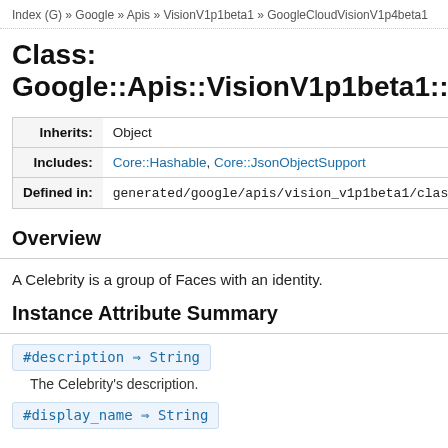Index (G) » Google » Apis » VisionV1p1beta1 » GoogleCloudVisionV1p4beta1
Class: Google::Apis::VisionV1p1beta1::Goo
| Field | Value |
| --- | --- |
| Inherits: | Object |
| Includes: | Core::Hashable, Core::JsonObjectSupport |
| Defined in: | generated/google/apis/vision_v1p1beta1/classes.rb |
Overview
A Celebrity is a group of Faces with an identity.
Instance Attribute Summary
#description ⇒ String
The Celebrity's description.
#display_name ⇒ String